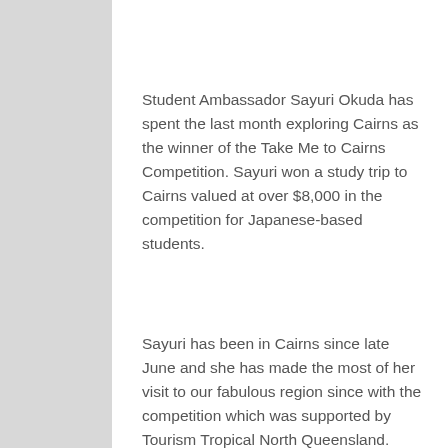Student Ambassador Sayuri Okuda has spent the last month exploring Cairns as the winner of the Take Me to Cairns Competition. Sayuri won a study trip to Cairns valued at over $8,000 in the competition for Japanese-based students.
Sayuri has been in Cairns since late June and she has made the most of her visit to our fabulous region since with the competition which was supported by Tourism Tropical North Queensland. After living with a Banora International Group homestay family initially, Sayuri is staying at Cairns Sharehouse for one month while attending English lessons at Cairns Language Centre and You Study